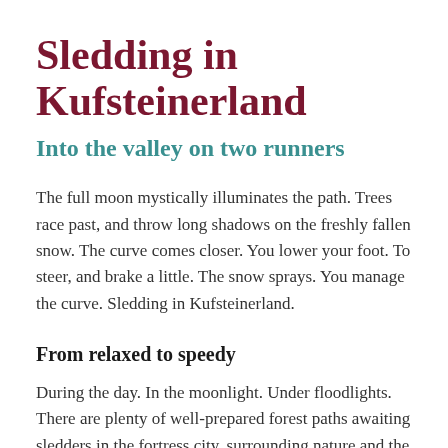Sledding in Kufsteinerland
Into the valley on two runners
The full moon mystically illuminates the path. Trees race past, and throw long shadows on the freshly fallen snow. The curve comes closer. You lower your foot. To steer, and brake a little. The snow sprays. You manage the curve. Sledding in Kufsteinerland.
From relaxed to speedy
During the day. In the moonlight. Under floodlights. There are plenty of well-prepared forest paths awaiting sledders in the fortress city, surrounding nature and the eight picturesque villages of Kufsteinerland. From relaxed to